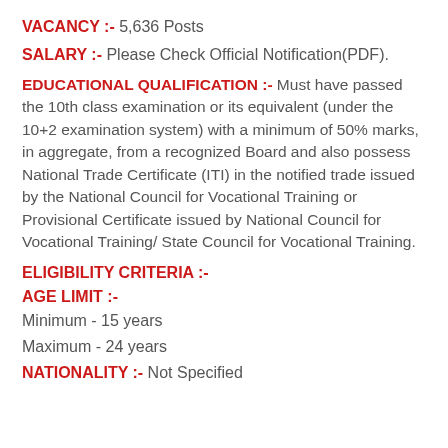VACANCY :- 5,636 Posts
SALARY :- Please Check Official Notification(PDF).
EDUCATIONAL QUALIFICATION :- Must have passed the 10th class examination or its equivalent (under the 10+2 examination system) with a minimum of 50% marks, in aggregate, from a recognized Board and also possess National Trade Certificate (ITI) in the notified trade issued by the National Council for Vocational Training or Provisional Certificate issued by National Council for Vocational Training/ State Council for Vocational Training.
ELIGIBILITY CRITERIA :-
AGE LIMIT :-
Minimum - 15 years
Maximum - 24 years
NATIONALITY :- Not Specified